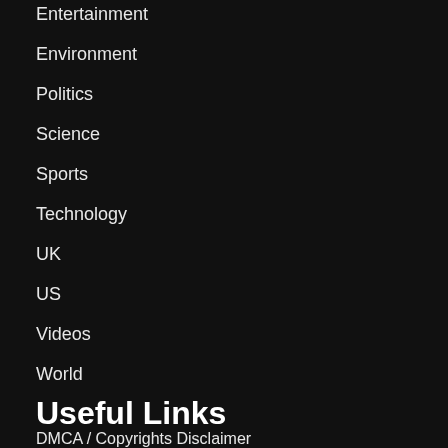Entertainment
Environment
Politics
Science
Sports
Technology
UK
US
Videos
World
Useful Links
DMCA / Copyrights Disclaimer